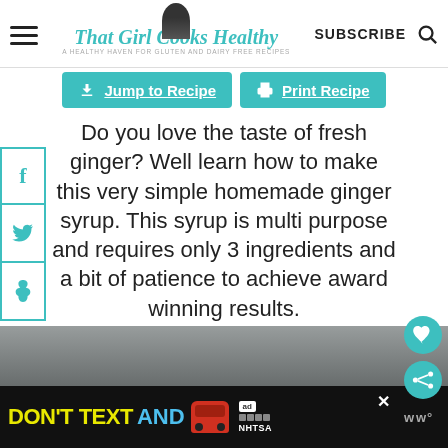That Girl Cooks Healthy — A HEALTHY HAVEN FOR GLUTEN AND DAIRY FREE RECIPES | SUBSCRIBE
[Figure (screenshot): Navigation header with hamburger menu, That Girl Cooks Healthy logo with woman photo, SUBSCRIBE text, and search icon]
[Figure (screenshot): Two teal buttons: Jump to Recipe and Print Recipe]
Do you love the taste of fresh ginger? Well learn how to make this very simple homemade ginger syrup. This syrup is multi purpose and requires only 3 ingredients and a bit of patience to achieve award winning results.
[Figure (screenshot): What's Next panel showing Jamaican Ginger Beer thumbnail and text]
[Figure (photo): Blurred photo at bottom of page showing food/drink content]
[Figure (screenshot): Ad banner: DON'T TEXT AND [car emoji] with NHTSA branding on black background]